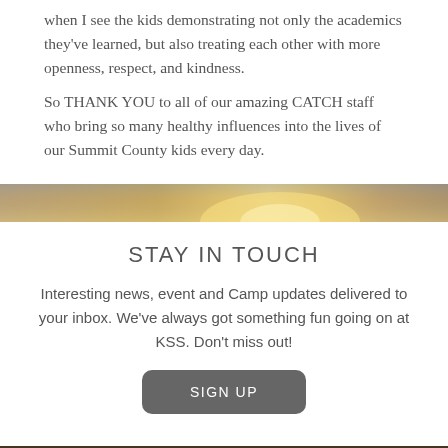when I see the kids demonstrating not only the academics they've learned, but also treating each other with more openness, respect, and kindness.
So THANK YOU to all of our amazing CATCH staff who bring so many healthy influences into the lives of our Summit County kids every day.
[Figure (photo): Sunrise or sunset sky banner image with warm golden tones]
STAY IN TOUCH
Interesting news, event and Camp updates delivered to your inbox. We've always got something fun going on at KSS. Don't miss out!
[Figure (other): SIGN UP button]
[Figure (photo): Dark textured banner image]
KSS BLOG